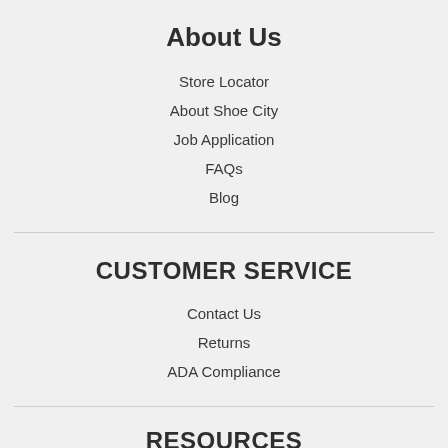About Us
Store Locator
About Shoe City
Job Application
FAQs
Blog
CUSTOMER SERVICE
Contact Us
Returns
ADA Compliance
RESOURCES